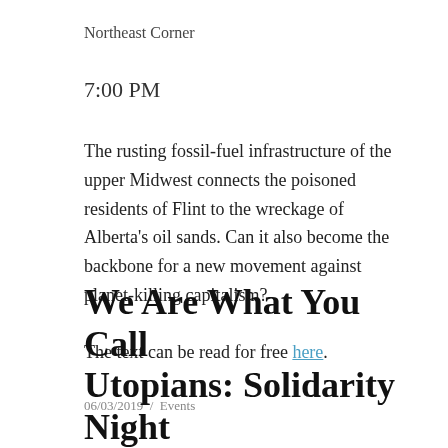Northeast Corner
7:00 PM
The rusting fossil-fuel infrastructure of the upper Midwest connects the poisoned residents of Flint to the wreckage of Alberta's oil sands. Can it also become the backbone for a new movement against planet-killing capitalism?
The text can be read for free here.
06/03/2019  /  Events
We Are What You Call Utopians: Solidarity Night